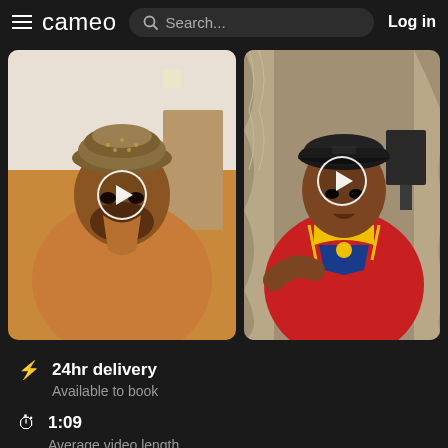cameo  Search...  Log in
[Figure (photo): Two video thumbnails side by side. Left: man in traditional orange robe and embroidered cap with play button. Right: man in colorful dashiki shirt and black baseball cap with play button.]
⚡ 24hr delivery
Available to book
⏱ 1:09
Average video length